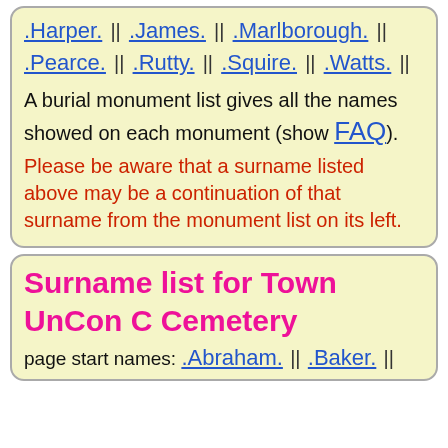.Harper. || .James. || .Marlborough. || .Pearce. || .Rutty. || .Squire. || .Watts. ||
A burial monument list gives all the names showed on each monument (show FAQ). Please be aware that a surname listed above may be a continuation of that surname from the monument list on its left.
Surname list for Town UnCon C Cemetery
page start names: .Abraham. || .Baker. ||